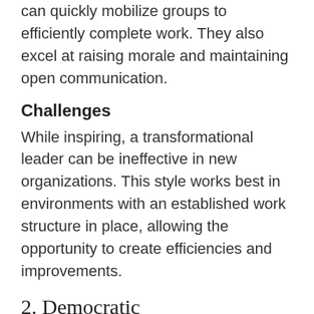can quickly mobilize groups to efficiently complete work. They also excel at raising morale and maintaining open communication.
Challenges
While inspiring, a transformational leader can be ineffective in new organizations. This style works best in environments with an established work structure in place, allowing the opportunity to create efficiencies and improvements.
2.  Democratic
Similar to transformational leaders, democratic leaders value team communication. Their relationship with their team and the freedom they allow team members to voice concerns and ideas are core characteristics of nurses with this leadership style.